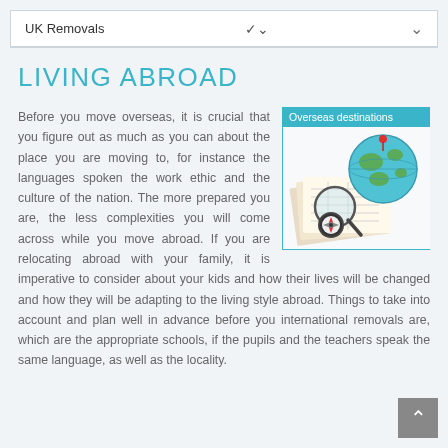UK Removals
LIVING ABROAD
[Figure (illustration): Image of a globe, magnifying glass, compass and maps representing overseas destinations. Caption bar reads 'Overseas destinations'.]
Before you move overseas, it is crucial that you figure out as much as you can about the place you are moving to, for instance the languages spoken the work ethic and the culture of the nation. The more prepared you are, the less complexities you will come across while you move abroad. If you are relocating abroad with your family, it is imperative to consider about your kids and how their lives will be changed and how they will be adapting to the living style abroad. Things to take into account and plan well in advance before you international removals are, which are the appropriate schools, if the pupils and the teachers speak the same language, as well as the locality.